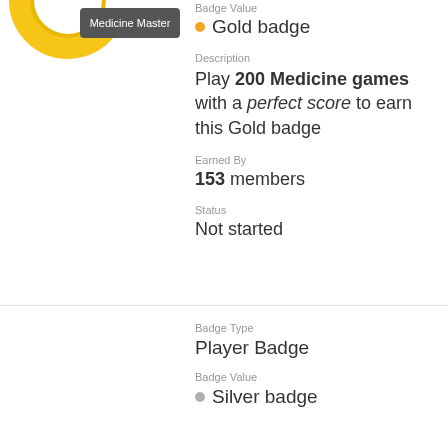[Figure (illustration): Medicine Master badge - yellow circular badge partially visible at top left with dark label 'Medicine Master']
Badge Value
Gold badge
Description
Play 200 Medicine games with a perfect score to earn this Gold badge
Earned By
153 members
Status
Not started
[Figure (illustration): Entertainment Principal badge - gray circular ring badge with orange smiley face icon, dark label 'Entertainment Principal']
Badge Type
Player Badge
Badge Value
Silver badge